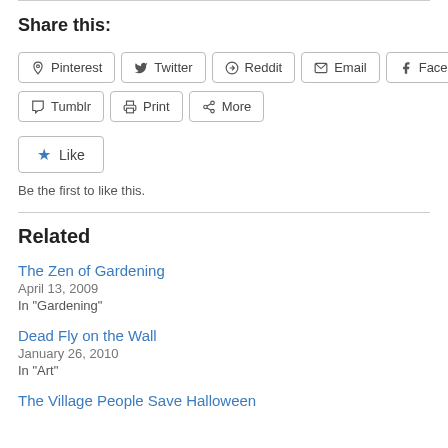Share this:
[Figure (other): Social sharing buttons: Pinterest, Twitter, Reddit, Email, Facebook, Tumblr, Print, More]
[Figure (other): Like button with star icon]
Be the first to like this.
Related
The Zen of Gardening
April 13, 2009
In "Gardening"
Dead Fly on the Wall
January 26, 2010
In "Art"
The Village People Save Halloween